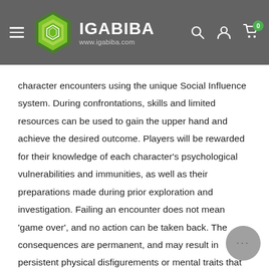IGABIBA www.igabiba.com
character encounters using the unique Social Influence system. During confrontations, skills and limited resources can be used to gain the upper hand and achieve the desired outcome. Players will be rewarded for their knowledge of each character's psychological vulnerabilities and immunities, as well as their preparations made during prior exploration and investigation. Failing an encounter does not mean 'game over', and no action can be taken back. The consequences are permanent, and may result in persistent physical disfigurements or mental traits that help or hinder the player's adventure.